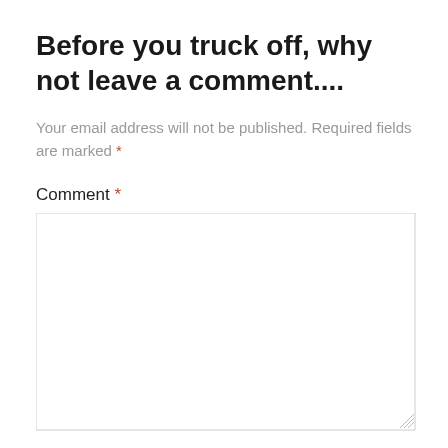Before you truck off, why not leave a comment....
Your email address will not be published. Required fields are marked *
Comment *